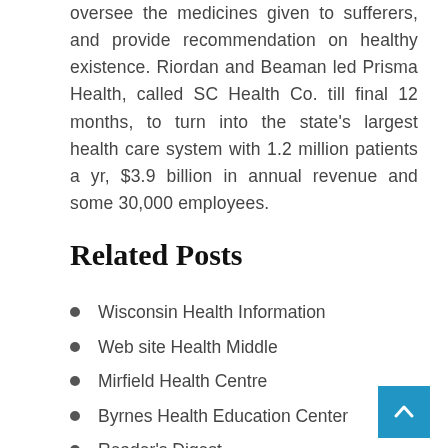oversee the medicines given to sufferers, and provide recommendation on healthy existence. Riordan and Beaman led Prisma Health, called SC Health Co. till final 12 months, to turn into the state's largest health care system with 1.2 million patients a yr, $3.9 billion in annual revenue and some 30,000 employees.
Related Posts
Wisconsin Health Information
Web site Health Middle
Mirfield Health Centre
Byrnes Health Education Center
Reader's Digest